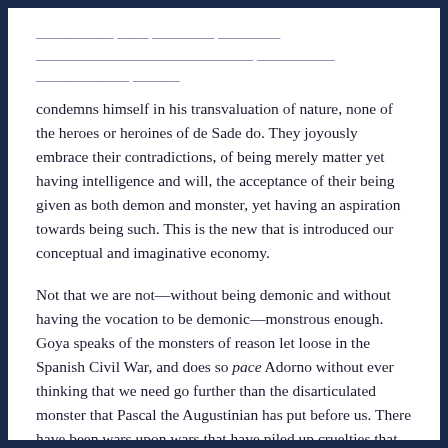condemns himself in his transvaluation of nature, none of the heroes or heroines of de Sade do. They joyously embrace their contradictions, of being merely matter yet having intelligence and will, the acceptance of their being given as both demon and monster, yet having an aspiration towards being such. This is the new that is introduced our conceptual and imaginative economy.
Not that we are not—without being demonic and without having the vocation to be demonic—monstrous enough. Goya speaks of the monsters of reason let loose in the Spanish Civil War, and does so pace Adorno without ever thinking that we need go further than the disarticulated monster that Pascal the Augustinian has put before us. There have been wars upon wars that have piled up cruelties that cry to heaven, and speak to our pride, envy, avarice, and our